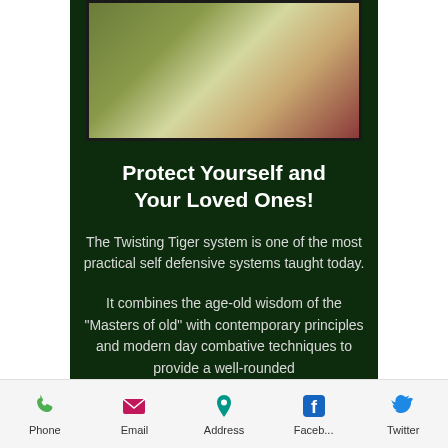[Figure (photo): Blurred photo with green and red tones, appears to be a martial arts or self-defense scene]
Protect Yourself and Your Loved Ones!
The Twisting Tiger system is one of the most practical self defensive systems taught today.
It combines the age-old wisdom of the "Masters of old" with contemporary principles and modern day combative techniques to provide a well-rounded
Phone   Email   Address   Faceb...   Twitter